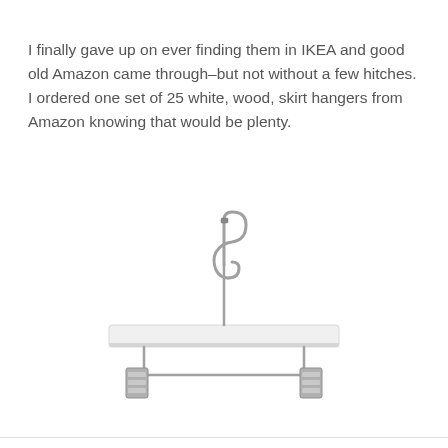I finally gave up on ever finding them in IKEA and good old Amazon came through–but not without a few hitches. I ordered one set of 25 white, wood, skirt hangers from Amazon knowing that would be plenty.
[Figure (photo): A white wooden skirt hanger with silver metal hook and two sliding metal clips on a horizontal metal rod below the wooden crossbar, photographed against a white background.]